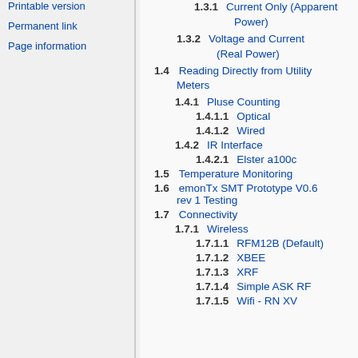Printable version
Permanent link
Page information
1.3.1  Current Only (Apparent Power)
1.3.2  Voltage and Current (Real Power)
1.4  Reading Directly from Utility Meters
1.4.1  Pluse Counting
1.4.1.1  Optical
1.4.1.2  Wired
1.4.2  IR Interface
1.4.2.1  Elster a100c
1.5  Temperature Monitoring
1.6  emonTx SMT Prototype V0.6 rev 1 Testing
1.7  Connectivity
1.7.1  Wireless
1.7.1.1  RFM12B (Default)
1.7.1.2  XBEE
1.7.1.3  XRF
1.7.1.4  Simple ASK RF
1.7.1.5  Wifi - RN XV